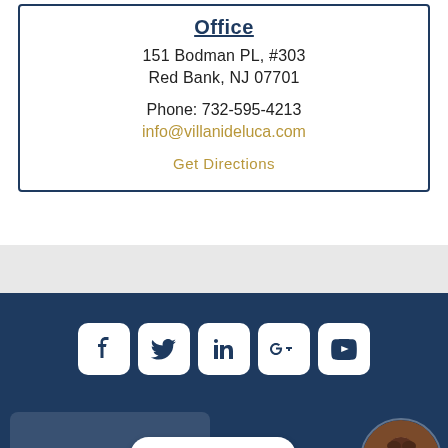Office
151 Bodman PL, #303
Red Bank, NJ 07701
Phone: 732-595-4213
info@villanideluca.com
Get Directions
[Figure (infographic): Social media icons row: Facebook, Twitter, LinkedIn, Google+, YouTube — white rounded square icons on dark navy background]
[Figure (photo): Chat widget with speech bubble saying 'How can I help you?' and circular avatar photo of a man with dark hair smiling, with green online indicator dot]